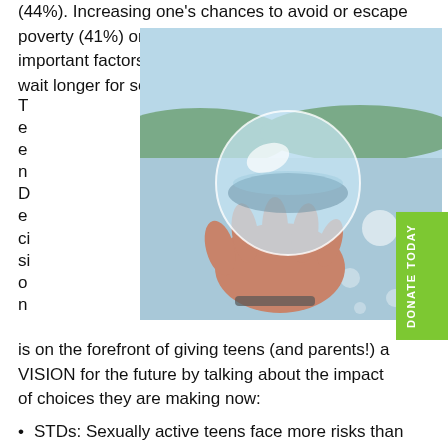(44%). Increasing one’s chances to avoid or escape poverty (41%) or to attend college (42%) were important factors that teens say would cause them to wait longer for sex.”
[Figure (photo): A hand holding a crystal glass sphere against a bright water/sky background with distant hills.]
Teen Decision is on the forefront of giving teens (and parents!) a VISION for the future by talking about the impact of choices they are making now:
STDs: Sexually active teens face more risks than any